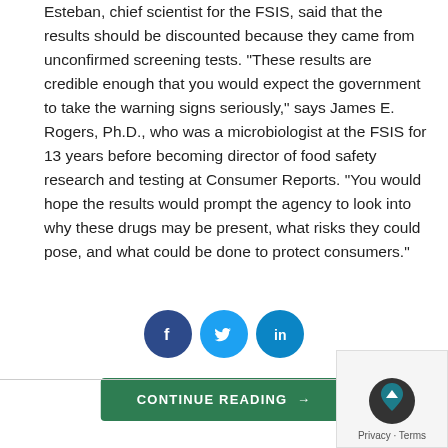Esteban, chief scientist for the FSIS, said that the results should be discounted because they came from unconfirmed screening tests. "These results are credible enough that you would expect the government to take the warning signs seriously," says James E. Rogers, Ph.D., who was a microbiologist at the FSIS for 13 years before becoming director of food safety research and testing at Consumer Reports. "You would hope the results would prompt the agency to look into why these drugs may be present, what risks they could pose, and what could be done to protect consumers."
[Figure (other): Social share buttons: Facebook, Twitter, LinkedIn]
[Figure (other): Continue Reading button with arrow]
[Figure (other): Privacy widget with scroll-to-top button showing Privacy - Terms text]